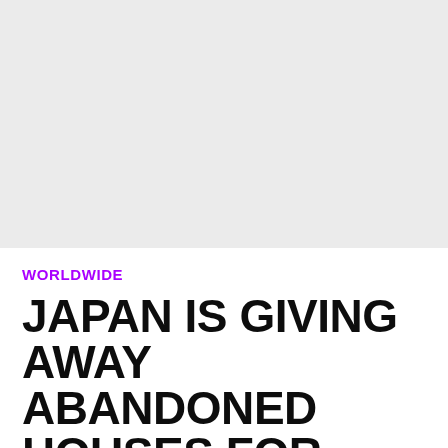[Figure (photo): Gray placeholder image area representing a photograph, approximately upper half of the page]
WORLDWIDE
JAPAN IS GIVING AWAY ABANDONED HOUSES FOR FREE